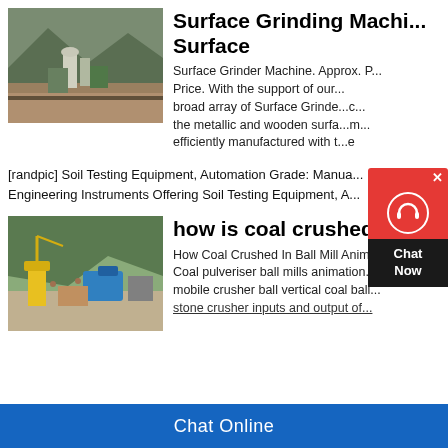[Figure (photo): Mining facility with industrial equipment, mountains in background, green structures visible]
Surface Grinding Machi... Surface
Surface Grinder Machine. Approx. P... Price. With the support of our... broad array of Surface Grinde...c... the metallic and wooden surfa...m... efficiently manufactured with t...e
[randpic] Soil Testing Equipment, Automation Grade: Manua... Engineering Instruments Offering Soil Testing Equipment, A...
[Figure (photo): Construction or mining site with yellow machinery, cranes, and blue equipment]
how is coal crushed in a...
How Coal Crushed In Ball Mill Anim... Coal pulveriser ball mills animation... mobile crusher ball vertical coal ball... stone crusher inputs and output of...
Chat Online